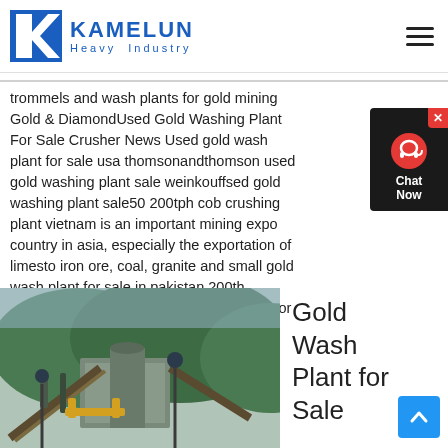KAMELUN Heavy Industry
trommels and wash plants for gold mining Gold & DiamondUsed Gold Washing Plant For Sale Crusher News Used gold wash plant for sale usa thomsonandthomson used gold washing plant sale weinkouffsed gold washing plant sale50 200tph cob crushing plant vietnam is an important mining expo country in asia, especially the exportation of limesto iron ore, coal, granite and small gold wash plant for sale in pakistan 200th 1000tused diamond and gold wash plant for sale
[Figure (photo): Mining/crushing plant facility with industrial machinery, conveyors, and equipment set against a forested hillside background]
Gold Wash Plant for Sale